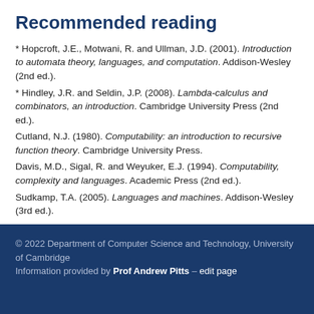Recommended reading
* Hopcroft, J.E., Motwani, R. and Ullman, J.D. (2001). Introduction to automata theory, languages, and computation. Addison-Wesley (2nd ed.).
* Hindley, J.R. and Seldin, J.P. (2008). Lambda-calculus and combinators, an introduction. Cambridge University Press (2nd ed.).
Cutland, N.J. (1980). Computability: an introduction to recursive function theory. Cambridge University Press.
Davis, M.D., Sigal, R. and Weyuker, E.J. (1994). Computability, complexity and languages. Academic Press (2nd ed.).
Sudkamp, T.A. (2005). Languages and machines. Addison-Wesley (3rd ed.).
© 2022 Department of Computer Science and Technology, University of Cambridge Information provided by Prof Andrew Pitts – edit page